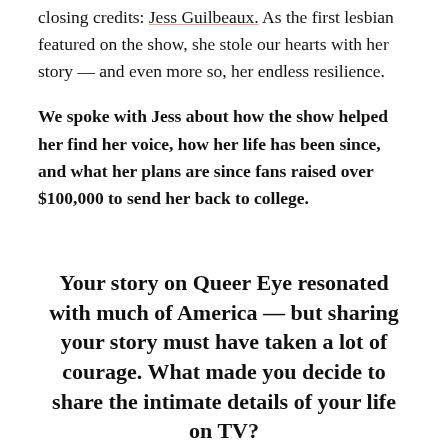closing credits: Jess Guilbeaux. As the first lesbian featured on the show, she stole our hearts with her story — and even more so, her endless resilience.
We spoke with Jess about how the show helped her find her voice, how her life has been since, and what her plans are since fans raised over $100,000 to send her back to college.
Your story on Queer Eye resonated with much of America — but sharing your story must have taken a lot of courage. What made you decide to share the intimate details of your life on TV?
At the end of the day, I wanted to make just one person feel like they were heard. We exist in a time of